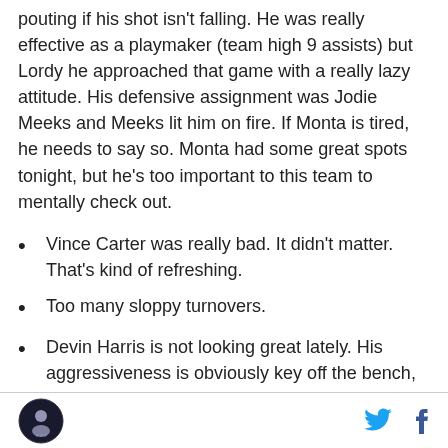pouting if his shot isn't falling. He was really effective as a playmaker (team high 9 assists) but Lordy he approached that game with a really lazy attitude. His defensive assignment was Jodie Meeks and Meeks lit him on fire. If Monta is tired, he needs to say so. Monta had some great spots tonight, but he's too important to this team to mentally check out.
Vince Carter was really bad. It didn't matter. That's kind of refreshing.
Too many sloppy turnovers.
Devin Harris is not looking great lately. His aggressiveness is obviously key off the bench, but